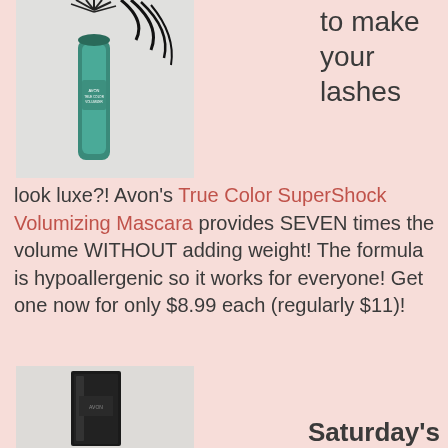[Figure (photo): Avon True Color SuperShock Volumizing Mascara product photo — teal mascara tube with brush and dark lashes visible at top]
to make your lashes look luxe?! Avon's True Color SuperShock Volumizing Mascara provides SEVEN times the volume WITHOUT adding weight! The formula is hypoallergenic so it works for everyone! Get one now for only $8.99 each (regularly $11)!
[Figure (photo): Second product photo — black angular product packaging, appears to be a cosmetic item]
Saturday's